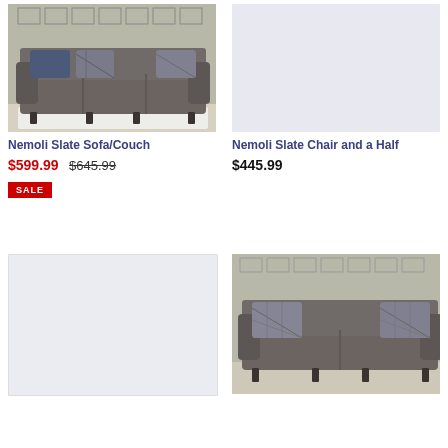[Figure (photo): Nemoli Slate Sofa/Couch - dark gray fabric sofa with blue and patterned throw pillows in a room setting]
Nemoli Slate Sofa/Couch
$599.99  $645.99  SALE
[Figure (photo): Nemoli Slate Chair and a Half - product image placeholder (light gray/blank)]
Nemoli Slate Chair and a Half
$445.99
[Figure (photo): Product image placeholder (light gray/blank)]
[Figure (photo): Nemoli Slate Loveseat - dark gray fabric loveseat with patterned throw pillows in a room setting]